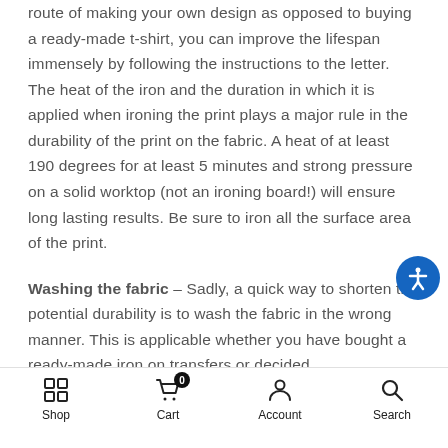route of making your own design as opposed to buying a ready-made t-shirt, you can improve the lifespan immensely by following the instructions to the letter. The heat of the iron and the duration in which it is applied when ironing the print plays a major rule in the durability of the print on the fabric. A heat of at least 190 degrees for at least 5 minutes and strong pressure on a solid worktop (not an ironing board!) will ensure long lasting results. Be sure to iron all the surface area of the print.
Washing the fabric – Sadly, a quick way to shorten the potential durability is to wash the fabric in the wrong manner. This is applicable whether you have bought a ready-made iron on transfers or decided
Shop  Cart 0  Account  Search